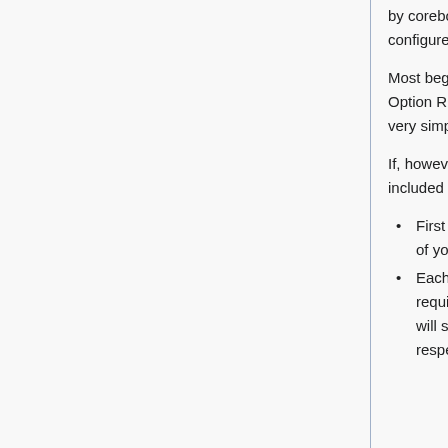by coreboot are built automatically once they are selected and configured as described in the next section.
Most beginners want to use the default SeaBIOS payload. It runs Option ROMs, is able to discover boot devices and provides a very simple boot menu.
If, however, you need to build a payload that is currently not included in the coreboot build system:
First you need to download the source code for the payload of your choice and build it.
Each payload may have different build instructions and requirements, however most of the time a "make" command will suffice. Please check Payloads and the wiki page for the respective payload for details.